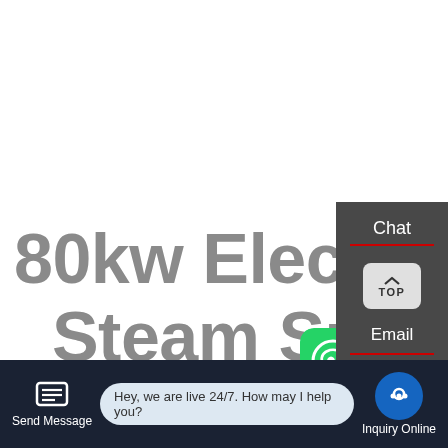80kw Electrode Boiler Steam Suppliers Sa
[Figure (screenshot): WhatsApp icon (green rounded square) and green 'Contact us now!' button]
HOT NEWS
[Figure (screenshot): Sidebar with Chat label, TOP button, Email label on dark background]
Send Message
Hey, we are live 24/7. How may I help you?
Inquiry Online